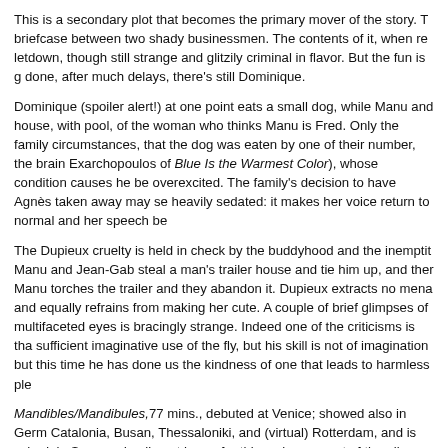This is a secondary plot that becomes the primary mover of the story. T briefcase between two shady businessmen. The contents of it, when re letdown, though still strange and glitzily criminal in flavor. But the fun is g done, after much delays, there's still Dominique.
Dominique (spoiler alert!) at one point eats a small dog, while Manu and house, with pool, of the woman who thinks Manu is Fred. Only the family circumstances, that the dog was eaten by one of their number, the brain Exarchopoulos of Blue Is the Warmest Color), whose condition causes he be overexcited. The family's decision to have Agnès taken away may se heavily sedated: it makes her voice return to normal and her speech be
The Dupieux cruelty is held in check by the buddyhood and the inemptit Manu and Jean-Gab steal a man's trailer house and tie him up, and ther Manu torches the trailer and they abandon it. Dupieux extracts no mena and equally refrains from making her cute. A couple of brief glimpses of multifaceted eyes is bracingly strange. Indeed one of the criticisms is tha sufficient imaginative use of the fly, but his skill is not of imagination but this time he has done us the kindness of one that leads to harmless ple
Mandibles/Mandibules,77 mins., debuted at Venice; showed also in Germ Catalonia, Busan, Thessaloniki, and (virtual) Rotterdam, and is schedule Screened online at home for this review as part of the all-virtual Rendez 12, 2021. Metascore: 75%.
Last edited by Chris Knipp; 03-13-2021 at 11:02 AM.